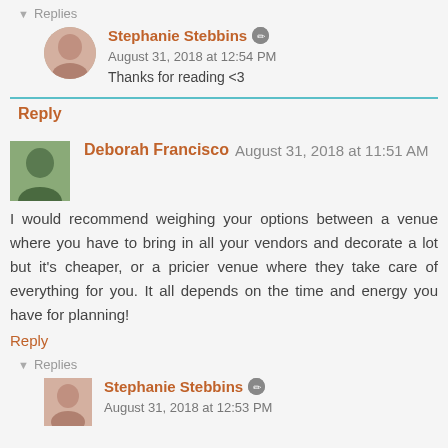▾ Replies
Stephanie Stebbins [edit icon] August 31, 2018 at 12:54 PM
Thanks for reading <3
Reply
Deborah Francisco August 31, 2018 at 11:51 AM
I would recommend weighing your options between a venue where you have to bring in all your vendors and decorate a lot but it's cheaper, or a pricier venue where they take care of everything for you. It all depends on the time and energy you have for planning!
Reply
▾ Replies
Stephanie Stebbins [edit icon] August 31, 2018 at 12:53 PM